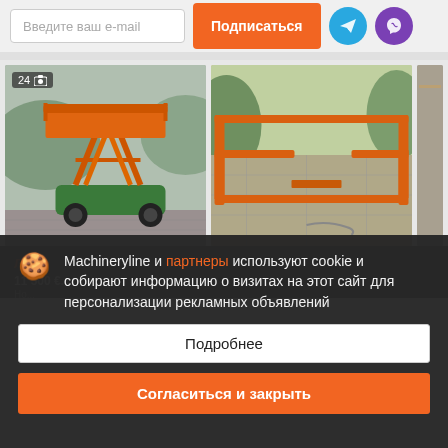Введите ваш e-mail
Подписаться
[Figure (photo): Scissor lift machine, orange platform, green base, on paved area with trees in background. Badge showing '24' and camera icon.]
[Figure (photo): Orange metal railing/platform structure on stone pavement, outdoor setting with greenery in background.]
Machineryline и партнеры используют cookie и собирают информацию о визитах на этот сайт для персонализации рекламных объявлений
Подробнее
Согласиться и закрыть